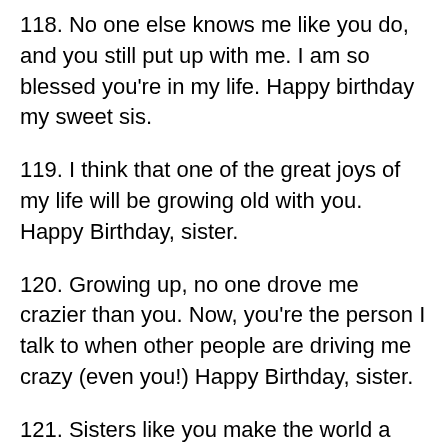118. No one else knows me like you do, and you still put up with me. I am so blessed you're in my life. Happy birthday my sweet sis.
119. I think that one of the great joys of my life will be growing old with you. Happy Birthday, sister.
120. Growing up, no one drove me crazier than you. Now, you're the person I talk to when other people are driving me crazy (even you!) Happy Birthday, sister.
121. Sisters like you make the world a better place. Happy Birthday.
122. Sis, you have always been there for me. On your birthday, I just want to say thank you, I